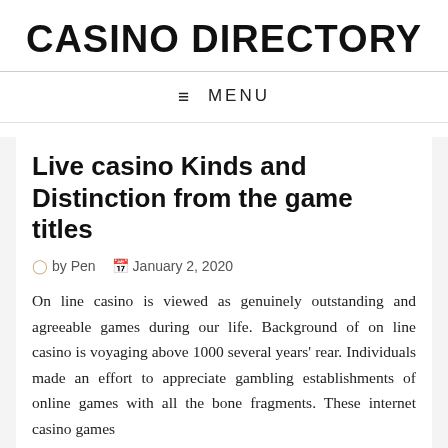CASINO DIRECTORY
≡ MENU
Live casino Kinds and Distinction from the game titles
by Pen   January 2, 2020
On line casino is viewed as genuinely outstanding and agreeable games during our life. Background of on line casino is voyaging above 1000 several years' rear. Individuals made an effort to appreciate gambling establishments of online games with all the bone fragments. These internet casino games